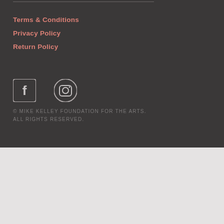Terms & Conditions
Privacy Policy
Return Policy
[Figure (illustration): Facebook and Instagram social media icons in dark circle outlines on dark background]
© MIKE KELLEY FOUNDATION FOR THE ARTS. ALL RIGHTS RESERVED.